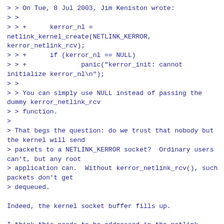> > On Tue, 8 Jul 2003, Jim Keniston wrote:
> >
> > +      kerror_nl = netlink_kernel_create(NETLINK_KERROR, kerror_netlink_rcv);
> > +      if (kerror_nl == NULL)
> > +              panic("kerror_init: cannot initialize kerror_nl\n");
> >
> > You can simply use NULL instead of passing the dummy kerror_netlink_rcv
> > function.
>
> That begs the question: do we trust that nobody but the kernel will send
> packets to a NETLINK_KERROR socket?  Ordinary users can't, but any root
> application can.  Without kerror_netlink_rcv(), such packets don't get
> dequeued.

Indeed, the kernel socket buffer fills up.

I think this needs to be addressed in the netlink code, per the patch
below.

Comments?